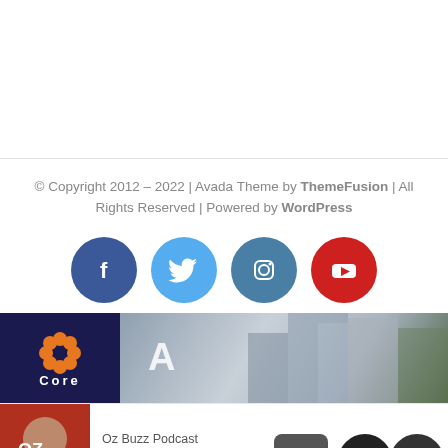© Copyright 2012 - 2022 | Avada Theme by ThemeFusion | All Rights Reserved | Powered by WordPress
[Figure (infographic): Four social media icon circles: Facebook (dark blue), Twitter (light blue), Instagram (steel blue), YouTube (red)]
[Figure (photo): Website banner with Core logo on dark blue background and a building photo with letter A]
[Figure (screenshot): Oz Buzz Podcast thumbnail with podcast label and Ozzie Podcast title, privacy and cookies policy popup, back-to-top and navigation buttons]